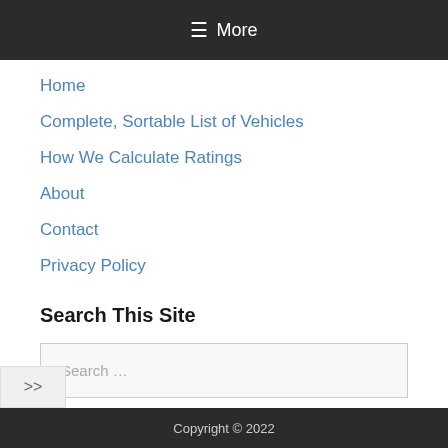☰ More
Home
Complete, Sortable List of Vehicles
How We Calculate Ratings
About
Contact
Privacy Policy
Search This Site
Search …
Copyright © 2022